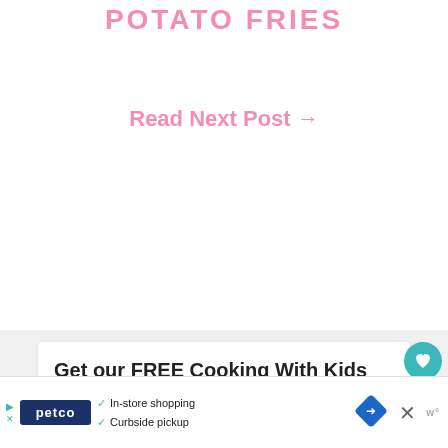POTATO FRIES
Read Next Post →
Get our FREE Cooking With Kids eBook with 10 Yummy Snack Recipes.
WHAT'S NEXT → 10 FUN PRESCHOO...
[Figure (screenshot): Advertisement banner for Petco with in-store shopping and curbside pickup options, featuring a navigation arrow icon and a close button]